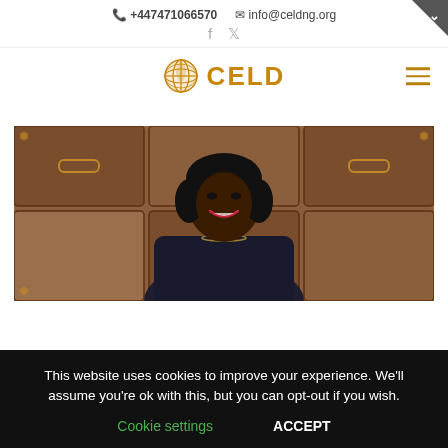+447471066570  info@celdng.org
[Figure (logo): CELD logo with globe icon and gold text 'CELD']
[Figure (photo): Portrait photo of a woman smiling, wearing a dark jacket, with vintage luggage in the background]
This website uses cookies to improve your experience. We'll assume you're ok with this, but you can opt-out if you wish.
Cookie settings  ACCEPT